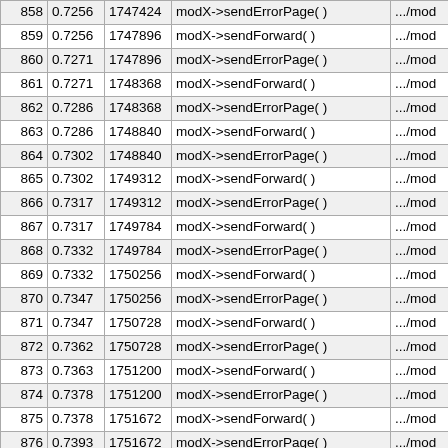| # | time | mem | function | file |
| --- | --- | --- | --- | --- |
| 858 | 0.7256 | 1747424 | modX->sendErrorPage( ) | .../mod |
| 859 | 0.7256 | 1747896 | modX->sendForward( ) | .../mod |
| 860 | 0.7271 | 1747896 | modX->sendErrorPage( ) | .../mod |
| 861 | 0.7271 | 1748368 | modX->sendForward( ) | .../mod |
| 862 | 0.7286 | 1748368 | modX->sendErrorPage( ) | .../mod |
| 863 | 0.7286 | 1748840 | modX->sendForward( ) | .../mod |
| 864 | 0.7302 | 1748840 | modX->sendErrorPage( ) | .../mod |
| 865 | 0.7302 | 1749312 | modX->sendForward( ) | .../mod |
| 866 | 0.7317 | 1749312 | modX->sendErrorPage( ) | .../mod |
| 867 | 0.7317 | 1749784 | modX->sendForward( ) | .../mod |
| 868 | 0.7332 | 1749784 | modX->sendErrorPage( ) | .../mod |
| 869 | 0.7332 | 1750256 | modX->sendForward( ) | .../mod |
| 870 | 0.7347 | 1750256 | modX->sendErrorPage( ) | .../mod |
| 871 | 0.7347 | 1750728 | modX->sendForward( ) | .../mod |
| 872 | 0.7362 | 1750728 | modX->sendErrorPage( ) | .../mod |
| 873 | 0.7363 | 1751200 | modX->sendForward( ) | .../mod |
| 874 | 0.7378 | 1751200 | modX->sendErrorPage( ) | .../mod |
| 875 | 0.7378 | 1751672 | modX->sendForward( ) | .../mod |
| 876 | 0.7393 | 1751672 | modX->sendErrorPage( ) | .../mod |
| 877 | 0.7394 | 1752144 | modX->sendForward( ) | .../mod |
| 878 | 0.7409 | 1752144 | modX->sendErrorPage( ) | .../mod |